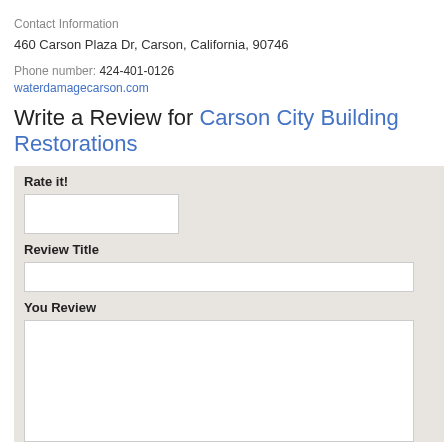Contact Information
460 Carson Plaza Dr, Carson, California, 90746
Phone number: 424-401-0126
waterdamagecarson.com
Write a Review for Carson City Building Restorations
Rate it!
Review Title
You Review